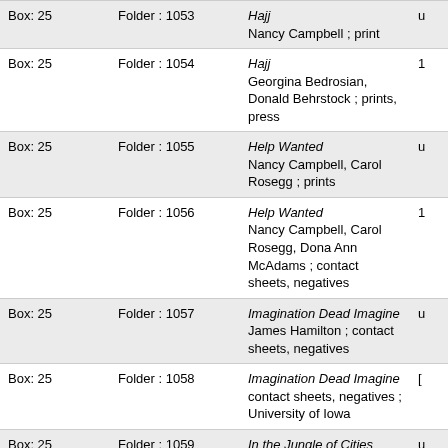| Box | Folder | Description |  |
| --- | --- | --- | --- |
| Box: 25 | Folder : 1053 | Hajj
Nancy Campbell ; print | u |
| Box: 25 | Folder : 1054 | Hajj
Georgina Bedrosian, Donald Behrstock ; prints, press | 1 |
| Box: 25 | Folder : 1055 | Help Wanted
Nancy Campbell, Carol Rosegg ; prints | u |
| Box: 25 | Folder : 1056 | Help Wanted
Nancy Campbell, Carol Rosegg, Dona Ann McAdams ; contact sheets, negatives | 1 |
| Box: 25 | Folder : 1057 | Imagination Dead Imagine
James Hamilton ; contact sheets, negatives | u |
| Box: 25 | Folder : 1058 | Imagination Dead Imagine
contact sheets, negatives ; University of Iowa | [ |
| Box: 25 | Folder : 1059 | In the Jungle of Cities
James Hamilton ; contact sheets | u |
| Box: 25 | Folder : 1060 | In the Jungle of Cities
James Hamilton ; prints; Ann Bogart | 1 |